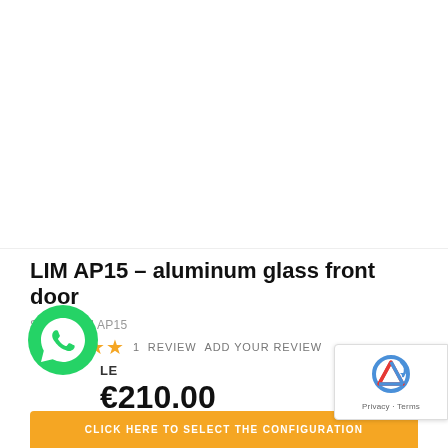[Figure (photo): Product image area for LIM AP15 aluminum glass front door - appears blank/white in this view]
LIM AP15 – aluminum glass front door
SKU#:  LIM AP15
★★★★★  1 REVIEW   ADD YOUR REVIEW
AVAILABLE
€210.00
The price includes TAX
CLICK HERE TO SELECT THE CONFIGURATION